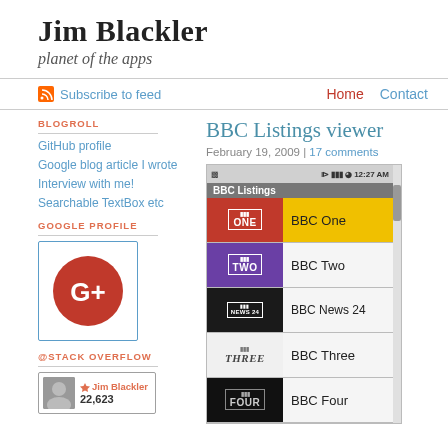Jim Blackler
planet of the apps
Subscribe to feed   Home   Contact
BLOGROLL
GitHub profile
Google blog article I wrote
Interview with me!
Searchable TextBox etc
GOOGLE PROFILE
[Figure (logo): Google+ logo icon — red circle with white G+ text]
@STACK OVERFLOW
[Figure (screenshot): Stack Overflow profile card showing Jim Blackler avatar and reputation 22,623]
BBC Listings viewer
February 19, 2009 | 17 comments
[Figure (screenshot): Screenshot of BBC Listings Android app showing BBC One (selected/highlighted), BBC Two, BBC News 24, BBC Three, and BBC Four channels in a list with logos]